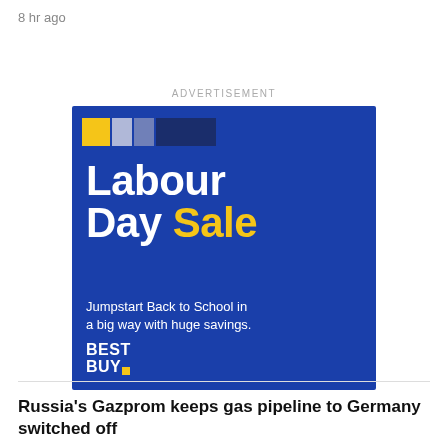8 hr ago
ADVERTISEMENT
[Figure (illustration): Best Buy Labour Day Sale advertisement. Blue background with coloured stripes (yellow, light blue, blue, dark blue) in top-left corner. Large white bold text reads 'Labour Day' and yellow bold text reads 'Sale'. Subtext: 'Jumpstart Back to School in a big way with huge savings.' Best Buy logo in bottom-left with yellow dot.]
Russia's Gazprom keeps gas pipeline to Germany switched off